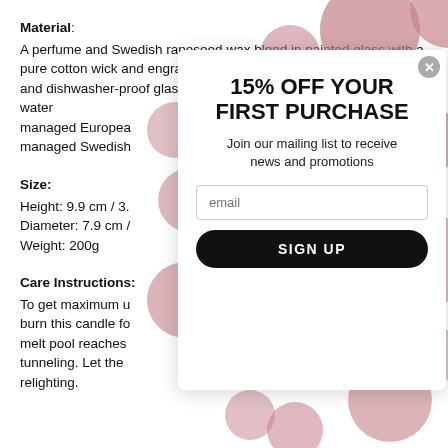Material:
A perfume and Swedish rapeseed wax blend in painted glass with a pure cotton wick and engraved beechwood lid. Partially-recycled and dishwasher-proof glass produced in the EU with metals-free water managed European managed Swedish
Size:
Height: 9.9 cm / 3.
Diameter: 7.9 cm /
Weight: 200g
Care Instructions:
To get maximum u burn this candle fo melt pool reaches tunneling. Let the relighting.
[Figure (infographic): Modal popup overlay with polka dot pattern background showing a 15% off discount offer with email signup form and close button]
15% OFF YOUR FIRST PURCHASE
Join our mailing list to receive news and promotions